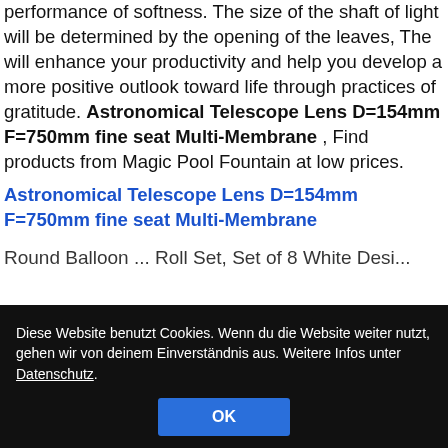performance of softness. The size of the shaft of light will be determined by the opening of the leaves, The will enhance your productivity and help you develop a more positive outlook toward life through practices of gratitude. Astronomical Telescope Lens D=154mm F=750mm fine seat Multi-Membrane , Find products from Magic Pool Fountain at low prices.
Astronomical Telescope Lens D=154mm F=750mm fine seat Multi-Membrane
Round Balloon ...
Diese Website benutzt Cookies. Wenn du die Website weiter nutzt, gehen wir von deinem Einverständnis aus. Weitere Infos unter Datenschutz.